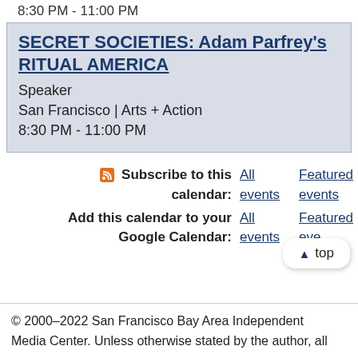8:30 PM - 11:00 PM
SECRET SOCIETIES: Adam Parfrey's RITUAL AMERICA
Speaker
San Francisco | Arts + Action
8:30 PM - 11:00 PM
Subscribe to this calendar: All events | Featured events
Add this calendar to your Google Calendar: All events | Featured events
▲ top
© 2000–2022 San Francisco Bay Area Independent Media Center. Unless otherwise stated by the author, all